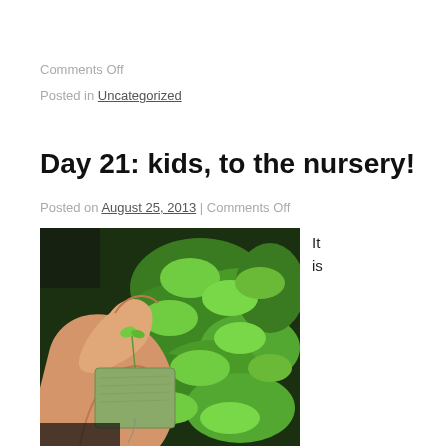Comments Off
Posted in Uncategorized
Day 21: kids, to the nursery!
Posted on August 25, 2013 | Comments Off
[Figure (photo): A hand holding a small seedling sprouting from a growing medium/rockwool cube, surrounded by green leafy plants in a nursery or hydroponic setting.]
It is